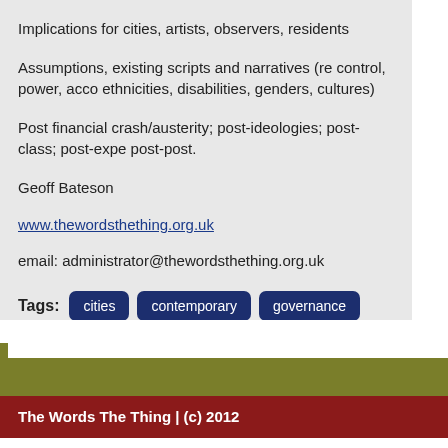Implications for cities, artists, observers, residents
Assumptions, existing scripts and narratives (re control, power, acco ethnicities, disabilities, genders, cultures)
Post financial crash/austerity; post-ideologies; post-class; post-expe post-post.
Geoff Bateson
www.thewordsthething.org.uk
email: administrator@thewordsthething.org.uk
Tags: cities  contemporary  governance  public art
The Words The Thing | (c) 2012